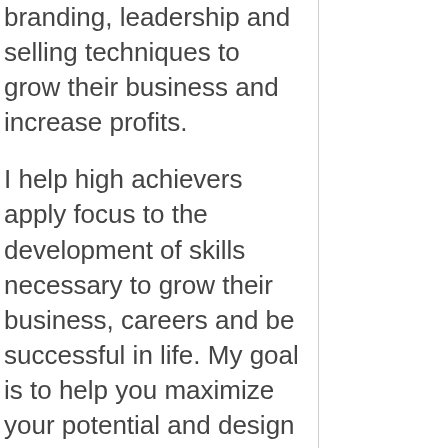branding, leadership and selling techniques to grow their business and increase profits.
I help high achievers apply focus to the development of skills necessary to grow their business, careers and be successful in life. My goal is to help you maximize your potential and design a life you